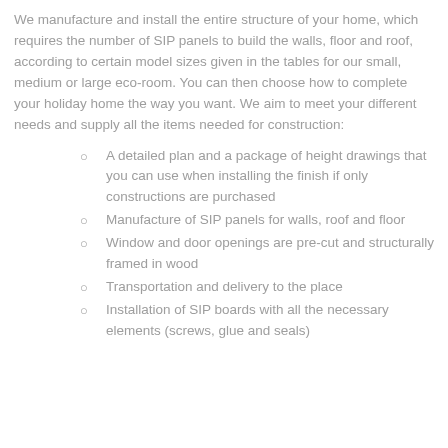We manufacture and install the entire structure of your home, which requires the number of SIP panels to build the walls, floor and roof, according to certain model sizes given in the tables for our small, medium or large eco-room. You can then choose how to complete your holiday home the way you want. We aim to meet your different needs and supply all the items needed for construction:
A detailed plan and a package of height drawings that you can use when installing the finish if only constructions are purchased
Manufacture of SIP panels for walls, roof and floor
Window and door openings are pre-cut and structurally framed in wood
Transportation and delivery to the place
Installation of SIP boards with all the necessary elements (screws, glue and seals)